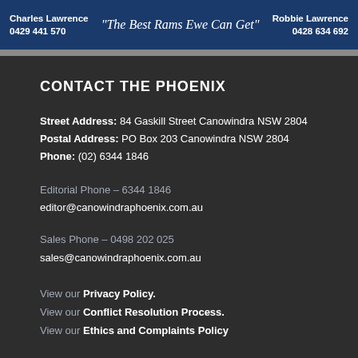Charles Lawrence 0429 441 570  "The Best Rams Ewe Can Get"  Robbie Lawrence 0428 634 692
CONTACT THE PHOENIX
Street Address: 84 Gaskill Street Canowindra NSW 2804
Postal Address: PO Box 203 Canowindra NSW 2804
Phone: (02) 6344 1846
Editorial Phone – 6344 1846
editor@canowindraphoenix.com.au
Sales Phone – 0498 202 025
sales@canowindraphoenix.com.au
View our Privacy Policy.
View our Conflict Resolution Process.
View our Ethics and Complaints Policy